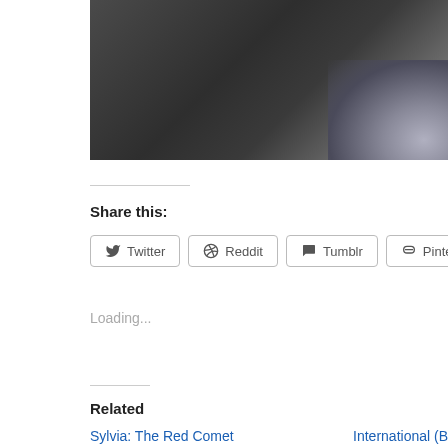[Figure (photo): Dark blurred photo with grey tones, partially cropped at top of page]
Share this:
Twitter  Reddit  Tumblr  Pinterest
Loading...
Related
Sylvia: The Red Comet
International (B